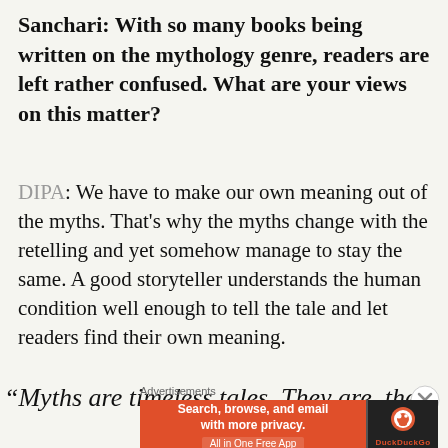Sanchari: With so many books being written on the mythology genre, readers are left rather confused. What are your views on this matter?
DIPA: We have to make our own meaning out of the myths. That's why the myths change with the retelling and yet somehow manage to stay the same. A good storyteller understands the human condition well enough to tell the tale and let readers find their own meaning.
“Myths are timeless tales. They are, they
Advertisements
[Figure (other): DuckDuckGo advertisement banner: orange left panel with text 'Search, browse, and email with more privacy. All in One Free App' and dark right panel with DuckDuckGo logo]